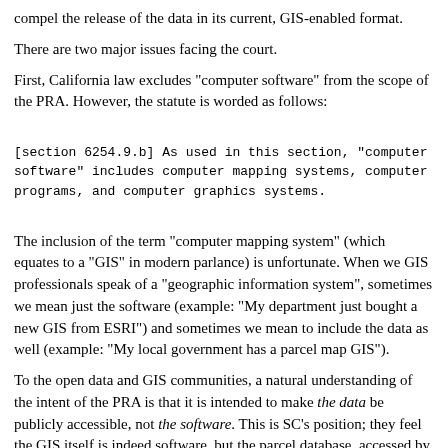compel the release of the data in its current, GIS-enabled format.
There are two major issues facing the court.
First, California law excludes "computer software" from the scope of the PRA. However, the statute is worded as follows:
[section 6254.9.b] As used in this section, "computer software" includes computer mapping systems, computer programs, and computer graphics systems.
The inclusion of the term "computer mapping system" (which equates to a "GIS" in modern parlance) is unfortunate. When we GIS professionals speak of a "geographic information system", sometimes we mean just the software (example: "My department just bought a new GIS from ESRI") and sometimes we mean to include the data as well (example: "My local government has a parcel map GIS").
To the open data and GIS communities, a natural understanding of the intent of the PRA is that it is intended to make the data be publicly accessible, not the software. This is SC's position; they feel the GIS itself is indeed software, but the parcel database, accessed by the GIS, is a public record. On the other side, OC considers the term "computer mapping system" to include the database as well as the